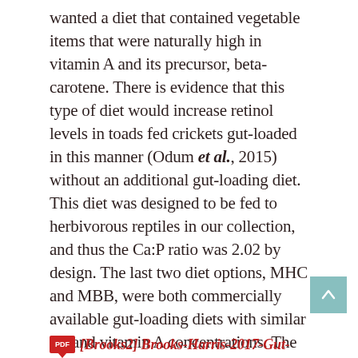wanted a diet that contained vegetable items that were naturally high in vitamin A and its precursor, beta-carotene. There is evidence that this type of diet would increase retinol levels in toads fed crickets gut-loaded in this manner (Odum et al., 2015) without an additional gut-loading diet. This diet was designed to be fed to herbivorous reptiles in our collection, and thus the Ca:P ratio was 2.02 by design. The last two diet options, MHC and MBB, were both commercially available gut-loading diets with similar Ca and vitamin A concentrations. The difference between the two comes down to protein and fat concentration and ingredient list, with the MBB containing more CP and fat coming from fishmeal and spirulina instead of the corn, soybean meal, and porcine meal in the MHC.
[Brooks2] Brooks-Harris-2017-Gut-